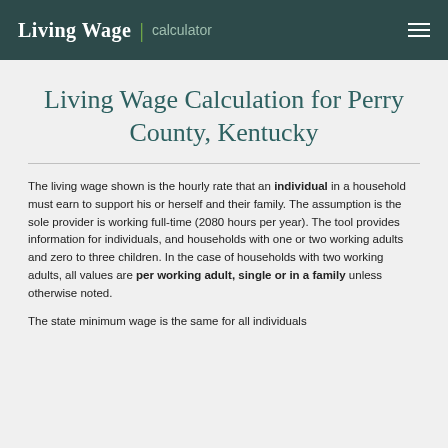Living Wage | calculator
Living Wage Calculation for Perry County, Kentucky
The living wage shown is the hourly rate that an individual in a household must earn to support his or herself and their family. The assumption is the sole provider is working full-time (2080 hours per year). The tool provides information for individuals, and households with one or two working adults and zero to three children. In the case of households with two working adults, all values are per working adult, single or in a family unless otherwise noted.
The state minimum wage is the same for all individuals